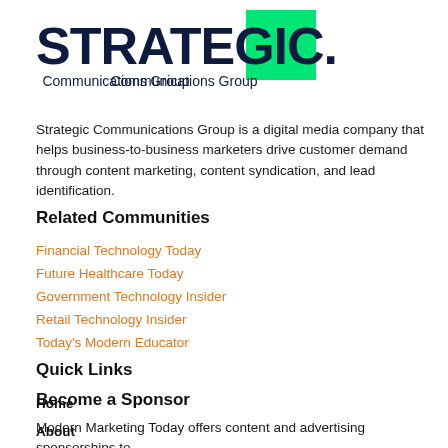[Figure (logo): Strategic Communications Group logo with bold navy text 'STRATEGIC.' and green triangle accent, subtitle 'Communications Group']
Strategic Communications Group is a digital media company that helps business-to-business marketers drive customer demand through content marketing, content syndication, and lead identification.
Related Communities
Financial Technology Today
Future Healthcare Today
Government Technology Insider
Retail Technology Insider
Today's Modern Educator
Quick Links
Home
About
Contact Us
Become a Sponsor
Modern Marketing Today offers content and advertising sponsorships to